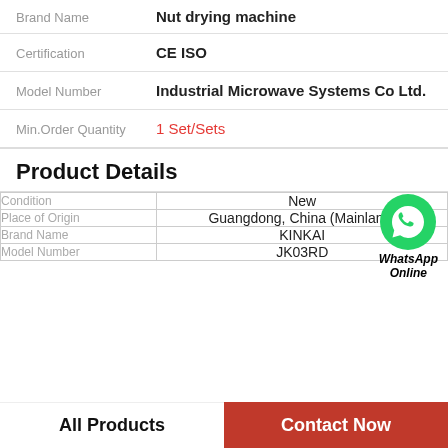| Field | Value |
| --- | --- |
| Brand Name | Nut drying machine |
| Certification | CE ISO |
| Model Number | Industrial Microwave Systems Co Ltd. |
| Min.Order Quantity | 1 Set/Sets |
Product Details
| Condition | Place of Origin | Brand Name | Model Number |
| --- | --- | --- | --- |
| New | Guangdong, China (Mainland) | KINKAI | JK03RD |
WhatsApp Online
All Products
Contact Now